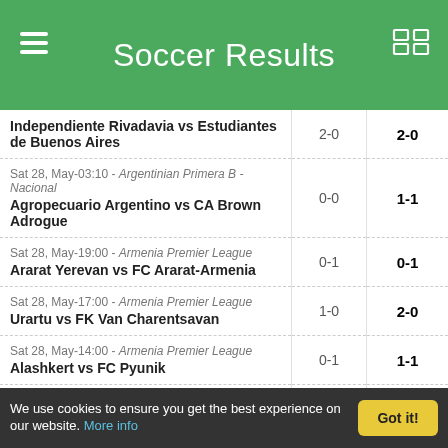Soccer Results
| Match | HT | FT |
| --- | --- | --- |
| Independiente Rivadavia vs Estudiantes de Buenos Aires | 2-0 | 2-0 |
| Sat 28, May-03:10 - Argentinian Primera B - Nacional
Agropecuario Argentino vs CA Brown Adrogue | 0-0 | 1-1 |
| Sat 28, May-19:00 - Armenia Premier League
Ararat Yerevan vs FC Ararat-Armenia | 0-1 | 0-1 |
| Sat 28, May-17:00 - Armenia Premier League
Urartu vs FK Van Charentsavan | 1-0 | 2-0 |
| Sat 28, May-14:00 - Armenia Premier League
Alashkert vs FC Pyunik | 0-1 | 1-1 |
| Sat 28, May-14:00 - Armenia Premier League
Noravank vs BKMA Yerevan | 1-2 | 3-2 |
| Sat 28, May-12:00 - Australia Brisbane Capital League 1
Pine Hills vs Mount Gravatt | 2-0 | 4-0 |
| Sat 28, May-12:00 - Australia Brisbane Capital League 1
The Lakes vs Centenary Stormers | 2-1 | 7-2 |
| Sat 28, May-09:00 - Australia Capital Gatorade Premier League | 1-1 | 4-3 |
We use cookies to ensure you get the best experience on our website. More info